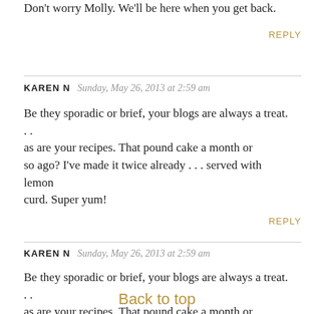Don't worry Molly. We'll be here when you get back.
REPLY
KAREN N  Sunday, May 26, 2013 at 2:59 am
Be they sporadic or brief, your blogs are always a treat. . . as are your recipes. That pound cake a month or so ago? I've made it twice already . . . served with lemon curd. Super yum!
REPLY
KAREN N  Sunday, May 26, 2013 at 2:59 am
Be they sporadic or brief, your blogs are always a treat. . . as are your recipes. That pound cake a month or so ago? I've made it twice already . . . served with lemon
Back to top